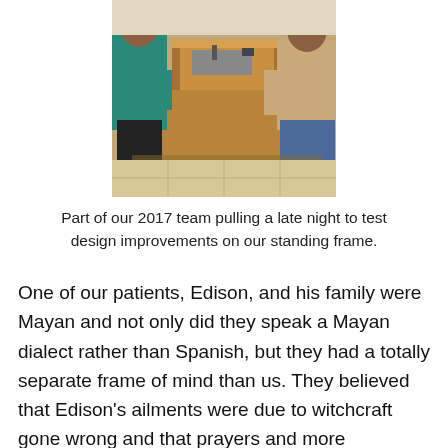[Figure (photo): Photo of people working late at night around a wooden standing frame, testing design improvements. A person in teal/cyan shirt and dark shorts is visible on the left, another person in light tan shirt on the right, with tools and wooden frame structure on a table.]
Part of our 2017 team pulling a late night to test design improvements on our standing frame.
One of our patients, Edison, and his family were Mayan and not only did they speak a Mayan dialect rather than Spanish, but they had a totally separate frame of mind than us. They believed that Edison's ailments were due to witchcraft gone wrong and that prayers and more witchcraft were the only ways to make him better. This was a first for me. I knew these cultures still existed, but interacting with them was unchartered territory for me. After speaking with them for